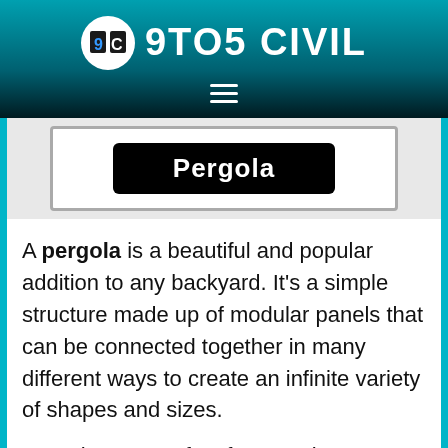9TO5 CIVIL
[Figure (other): Pergola label box — black rounded rectangle with white text 'Pergola' inside a white bordered container]
A pergola is a beautiful and popular addition to any backyard. It's a simple structure made up of modular panels that can be connected together in many different ways to create an infinite variety of shapes and sizes.
Pergolas are perfect for covering areas like a